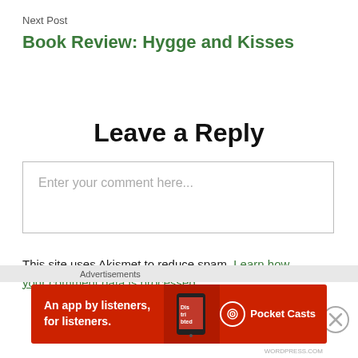Next Post
Book Review: Hygge and Kisses
Leave a Reply
Enter your comment here...
This site uses Akismet to reduce spam. Learn how your comment data is processed.
Advertisements
[Figure (screenshot): Pocket Casts advertisement banner: red background with text 'An app by listeners, for listeners.' and Pocket Casts logo with a stylized phone image showing 'Distributed' text]